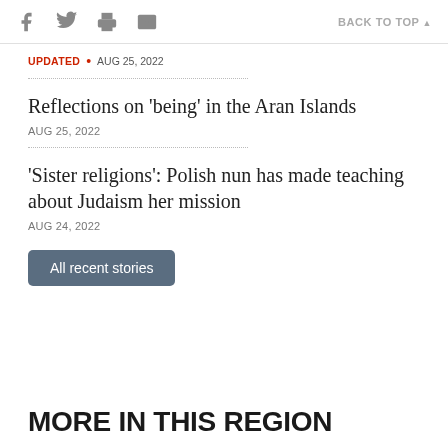f [twitter] [print] [email] BACK TO TOP
UPDATED • AUG 25, 2022
Reflections on 'being' in the Aran Islands
AUG 25, 2022
'Sister religions': Polish nun has made teaching about Judaism her mission
AUG 24, 2022
All recent stories
MORE IN THIS REGION